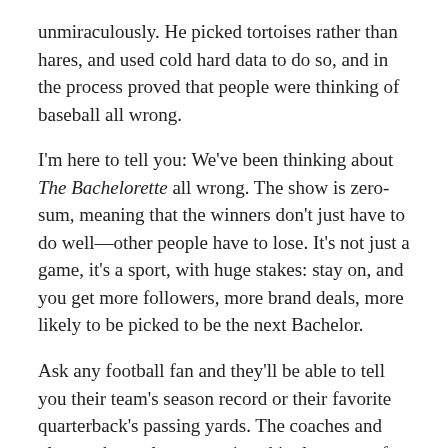unmiraculously. He picked tortoises rather than hares, and used cold hard data to do so, and in the process proved that people were thinking of baseball all wrong.
I'm here to tell you: We've been thinking about The Bachelorette all wrong. The show is zero-sum, meaning that the winners don't just have to do well—other people have to lose. It's not just a game, it's a sport, with huge stakes: stay on, and you get more followers, more brand deals, more likely to be picked to be the next Bachelor.
Ask any football fan and they'll be able to tell you their team's season record or their favorite quarterback's passing yards. The coaches and players themselves are painstakingly aware of their statistics, and make adjustments to how they play accordingly. The Bachelorette is a hideously under-analyzed field which has led to a viewing public—Bachelor Nation—that roots for contestants that are doomed to fail,